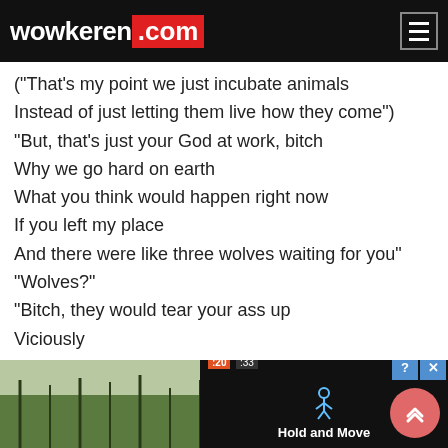wowkeren.com
("That's my point we just incubate animals
Instead of just letting them live how they come")
"But, that's just your God at work, bitch
Why we go hard on earth
What you think would happen right now
If you left my place
And there were like three wolves waiting for you"
"Wolves?"
"Bitch, they would tear your ass up
Viciously
Like they would eat your titties" (And your pussy)
"That's what they do" (And your face and shit)
"Humans are smarter bitch
That's what we do"
She like ("Apples to oranges")
"Bitch,
Why ca
[Figure (screenshot): Advertisement overlay showing 'Hold and Move' app with dark background and person icon, with close and help buttons, overlaid on outdoor winter scene photo. Red scroll-to-top button visible bottom right.]